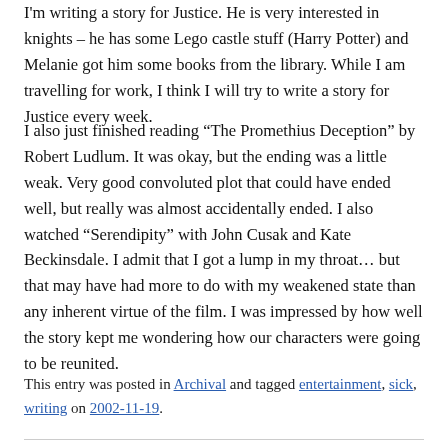I'm writing a story for Justice. He is very interested in knights – he has some Lego castle stuff (Harry Potter) and Melanie got him some books from the library. While I am travelling for work, I think I will try to write a story for Justice every week.
I also just finished reading “The Promethius Deception” by Robert Ludlum. It was okay, but the ending was a little weak. Very good convoluted plot that could have ended well, but really was almost accidentally ended. I also watched “Serendipity” with John Cusak and Kate Beckinsdale. I admit that I got a lump in my throat... but that may have had more to do with my weakened state than any inherent virtue of the film. I was impressed by how well the story kept me wondering how our characters were going to be reunited.
This entry was posted in Archival and tagged entertainment, sick, writing on 2002-11-19.